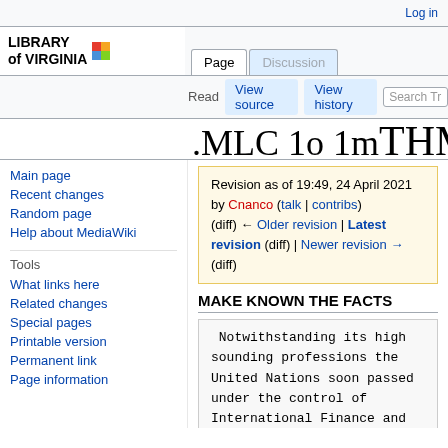Log in
[Figure (logo): Library of Virginia logo with colorful flag icon and bold text]
Page | Discussion | Read | View source | View history | Search
...MLC 1o 1m...THMzQx (page title cropped)
Revision as of 19:49, 24 April 2021 by Cnanco (talk | contribs) (diff) ← Older revision | Latest revision (diff) | Newer revision → (diff)
Main page
Recent changes
Random page
Help about MediaWiki
Tools
What links here
Related changes
Special pages
Printable version
Permanent link
Page information
MAKE KNOWN THE FACTS
Notwithstanding its high sounding professions the United Nations soon passed under the control of International Finance and Commerce. just as did the Congress of Vienna and the League of Nations. With